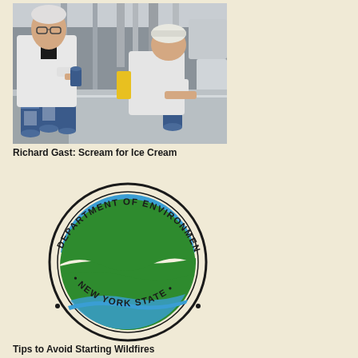[Figure (photo): Two men in white lab coats and hair nets working at an industrial ice cream production line, handling cans/containers on a metal conveyor belt in a factory setting.]
Richard Gast: Scream for Ice Cream
[Figure (logo): New York State Department of Environmental Conservation circular logo featuring blue sky, white stripe, and green landscape/wave design inside a round border with text reading 'DEPARTMENT OF ENVIRONMENTAL CONSERVATION • NEW YORK STATE •']
Tips to Avoid Starting Wildfires